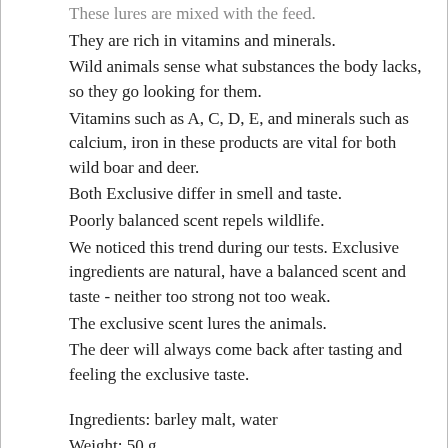These lures are mixed with the feed.
They are rich in vitamins and minerals.
Wild animals sense what substances the body lacks, so they go looking for them.
Vitamins such as A, C, D, E, and minerals such as calcium, iron in these products are vital for both wild boar and deer.
Both Exclusive differ in smell and taste.
Poorly balanced scent repels wildlife.
We noticed this trend during our tests. Exclusive ingredients are natural, have a balanced scent and taste - neither too strong not too weak.
The exclusive scent lures the animals.
The deer will always come back after tasting and feeling the exclusive taste.
Ingredients: barley malt, water
Weight: 50 g
Type: attractants for wild animals
Usage:These lures are mixed with the feed.